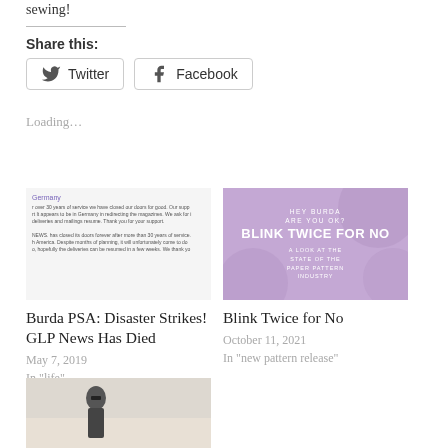sewing!
Share this:
Twitter
Facebook
Loading…
[Figure (screenshot): Screenshot of a blog post about Germany and GLP News closing after 30 years of service]
Burda PSA: Disaster Strikes! GLP News Has Died
May 7, 2019
In "life"
[Figure (illustration): Purple graphic with text: HEY BURDA ARE YOU OK? BLINK TWICE FOR NO - A LOOK AT THE STATE OF THE PAPER PATTERN INDUSTRY]
Blink Twice for No
October 11, 2021
In "new pattern release"
[Figure (photo): Photo of a woman in sunglasses on a beach wearing a dark coat]